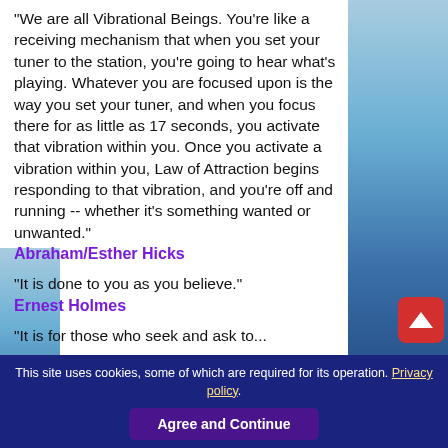"We are all Vibrational Beings. You're like a receiving mechanism that when you set your tuner to the station, you're going to hear what's playing. Whatever you are focused upon is the way you set your tuner, and when you focus there for as little as 17 seconds, you activate that vibration within you. Once you activate a vibration within you, Law of Attraction begins responding to that vibration, and you're off and running -- whether it's something wanted or unwanted."
Abraham/Esther Hicks
"It is done to you as you believe."
Ernest Holmes
"It is for those who seek...
This site uses cookies, some of which are required for its operation. Privacy policy.
Agree and Continue